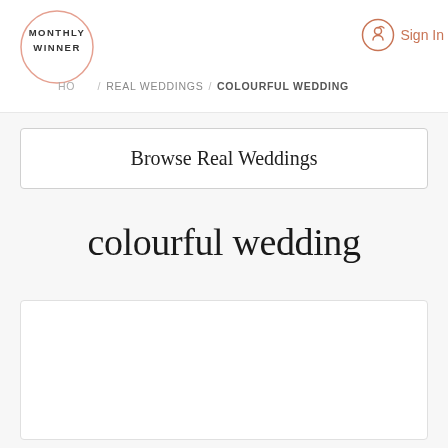MONTHLY WINNER | HOME / REAL WEDDINGS / COLOURFUL WEDDING | Sign In
Browse Real Weddings
colourful wedding
[Figure (other): White empty card area below the title]